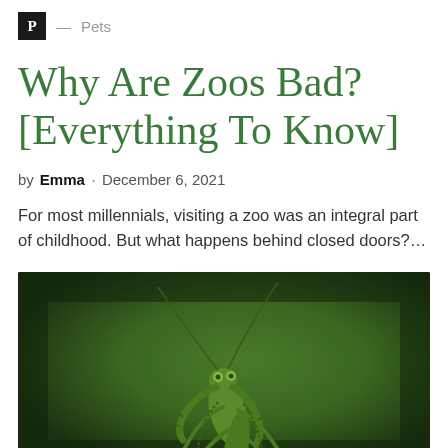P — Pets
Why Are Zoos Bad? [Everything To Know]
by Emma · December 6, 2021
For most millennials, visiting a zoo was an integral part of childhood. But what happens behind closed doors?…
[Figure (photo): Close-up photo of a green praying mantis against a dark green blurred background]